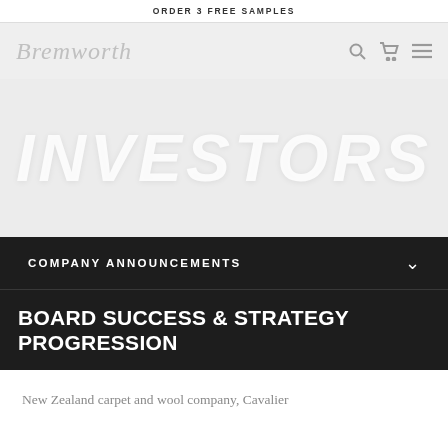ORDER 3 FREE SAMPLES
[Figure (logo): Bremworth script logo in light grey on grey navigation bar, with search, cart, and menu icons on the right]
INVESTORS
COMPANY ANNOUNCEMENTS
BOARD SUCCESS & STRATEGY PROGRESSION
New Zealand carpet and wool company, Cavalier